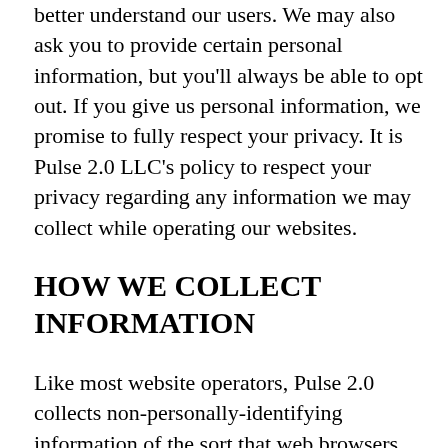better understand our users. We may also ask you to provide certain personal information, but you'll always be able to opt out. If you give us personal information, we promise to fully respect your privacy. It is Pulse 2.0 LLC's policy to respect your privacy regarding any information we may collect while operating our websites.
HOW WE COLLECT INFORMATION
Like most website operators, Pulse 2.0 collects non-personally-identifying information of the sort that web browsers and servers typically make available,